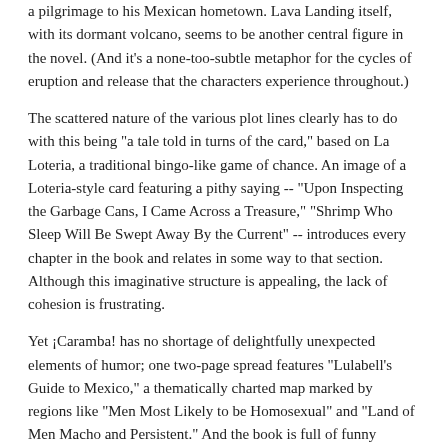a pilgrimage to his Mexican hometown. Lava Landing itself, with its dormant volcano, seems to be another central figure in the novel. (And it's a none-too-subtle metaphor for the cycles of eruption and release that the characters experience throughout.)
The scattered nature of the various plot lines clearly has to do with this being "a tale told in turns of the card," based on La Loteria, a traditional bingo-like game of chance. An image of a Loteria-style card featuring a pithy saying -- "Upon Inspecting the Garbage Cans, I Came Across a Treasure," "Shrimp Who Sleep Will Be Swept Away By the Current" -- introduces every chapter in the book and relates in some way to that section. Although this imaginative structure is appealing, the lack of cohesion is frustrating.
Yet ¡Caramba! has no shortage of delightfully unexpected elements of humor; one two-page spread features "Lulabell's Guide to Mexico," a thematically charted map marked by regions like "Men Most Likely to be Homosexual" and "Land of Men Macho and Persistent." And the book is full of funny throwaway lines. Commenting on Javier's sudden religious conversion, Natalie says, "Just amazin what the alleged love of the Lord has done to that boy. He's a far cry from the kid that stuck his hand down my panties on the bus ride home." Beyond cleverness, though, such quirky elements don't add up to much; then again, superficiality is hardly the worst trait a novel could